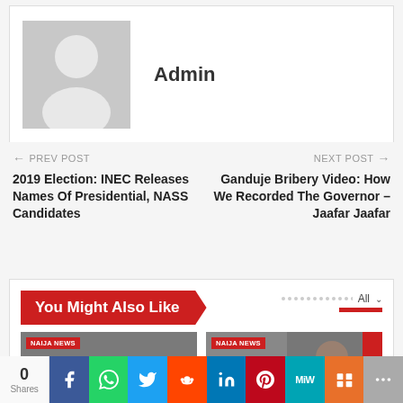[Figure (photo): Author avatar placeholder — gray silhouette person icon on gray background]
Admin
← PREV POST
2019 Election: INEC Releases Names Of Presidential, NASS Candidates
NEXT POST →
Ganduje Bribery Video: How We Recorded The Governor – Jaafar Jaafar
You Might Also Like
[Figure (photo): News thumbnail 1 — Nigerian police officers with NAIJA NEWS tag]
[Figure (photo): News thumbnail 2 — person with NAIJA NEWS tag and red strip]
Shares: 0 | Social share bar: Facebook, WhatsApp, Twitter, Reddit, LinkedIn, Pinterest, MeWe, Mix, More